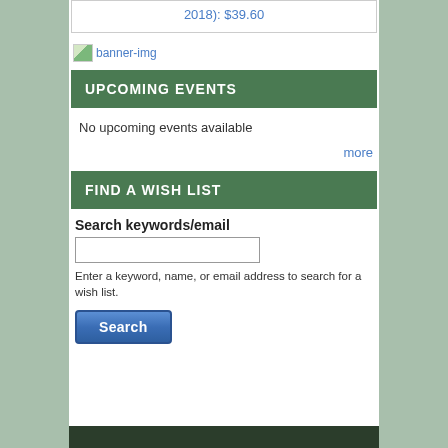2018): $39.60
[Figure (illustration): Broken image placeholder labeled 'banner-img' with small thumbnail icon]
UPCOMING EVENTS
No upcoming events available
more
FIND A WISH LIST
Search keywords/email
Enter a keyword, name, or email address to search for a wish list.
[Figure (other): Search button with blue gradient background]